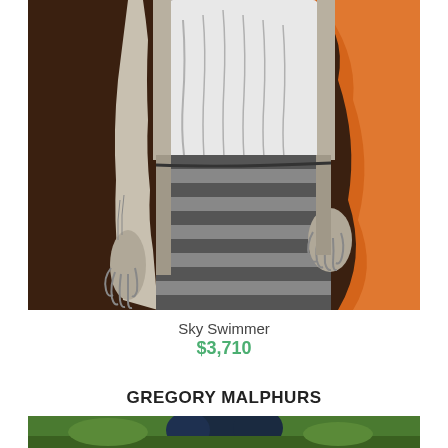[Figure (illustration): Detailed graphite/charcoal drawing of a person from neck to knees, wearing a white tank top and striped shorts/swimwear, with detailed hands hanging at sides. Background is dark brown on left and orange on right.]
Sky Swimmer
$3,710
GREGORY MALPHURS
[Figure (photo): Partial view of another artwork at bottom of page, showing dark teal/green tones.]